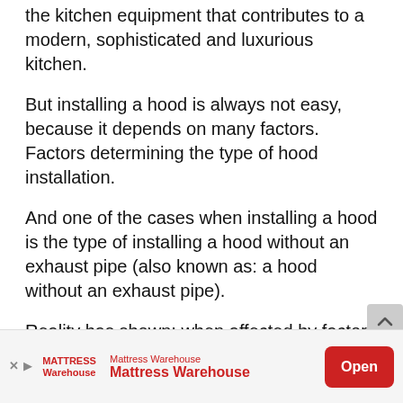the kitchen equipment that contributes to a modern, sophisticated and luxurious kitchen.
But installing a hood is always not easy, because it depends on many factors. Factors determining the type of hood installation.
And one of the cases when installing a hood is the type of installing a hood without an exhaust pipe (also known as: a hood without an exhaust pipe).
Reality has shown: when affected by factors such as: limited kitchen space or design in the architect’s planning, we have to choose the hoods that do not need a drain exhaust
[Figure (other): Mattress Warehouse advertisement banner with logo, brand name, and Open button]